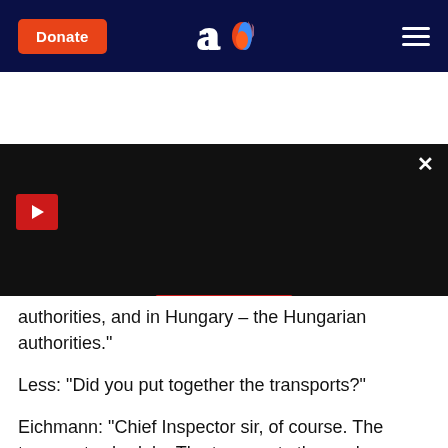Donate | [Aish logo] | [menu]
[Figure (screenshot): Black video player area with red play button icon in top left, X close button in top right, red READ MORE button centered near bottom, and progress bar segments at the very bottom]
authorities, and in Hungary – the Hungarian authorities."
Less: "Did you put together the transports?"
Eichmann: "Chief Inspector sir, of course. The transport schedule. The transports themselves were put together by the evacuating authority."
Up until May 31st, 1961, the day Eichmann was executed by hanging, he continued to maintain that he